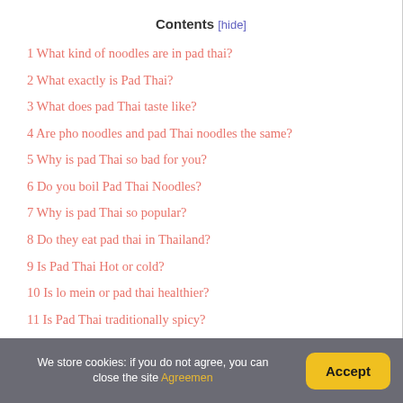Contents [hide]
1 What kind of noodles are in pad thai?
2 What exactly is Pad Thai?
3 What does pad Thai taste like?
4 Are pho noodles and pad Thai noodles the same?
5 Why is pad Thai so bad for you?
6 Do you boil Pad Thai Noodles?
7 Why is pad Thai so popular?
8 Do they eat pad thai in Thailand?
9 Is Pad Thai Hot or cold?
10 Is lo mein or pad thai healthier?
11 Is Pad Thai traditionally spicy?
12 What is the main flavor in pad thai?
13 Which is healthier fried rice or noodles?
We store cookies: if you do not agree, you can close the site Agreemen   Accept